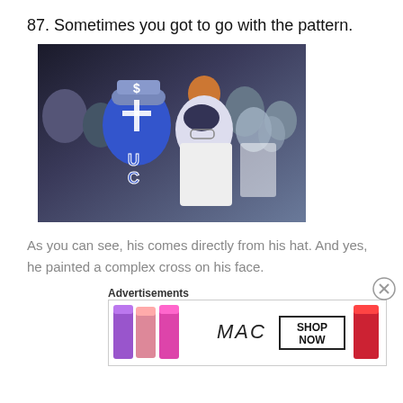87. Sometimes you got to go with the pattern.
[Figure (photo): A sports fan with blue and white body paint, wearing a cap, with a cross design painted on his face and torso. Another person stands next to him in a white shirt at what appears to be a sports event.]
As you can see, his comes directly from his hat. And yes, he painted a complex cross on his face.
Advertisements
[Figure (photo): MAC cosmetics advertisement showing lipsticks in purple, pink, and red colors with text 'MAC' and 'SHOP NOW']